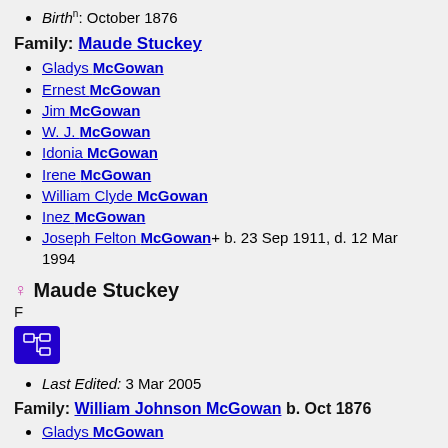Birth[n]: October 1876
Family: Maude Stuckey
Gladys McGowan
Ernest McGowan
Jim McGowan
W. J. McGowan
Idonia McGowan
Irene McGowan
William Clyde McGowan
Inez McGowan
Joseph Felton McGowan+ b. 23 Sep 1911, d. 12 Mar 1994
Maude Stuckey
F
Last Edited: 3 Mar 2005
Family: William Johnson McGowan b. Oct 1876
Gladys McGowan